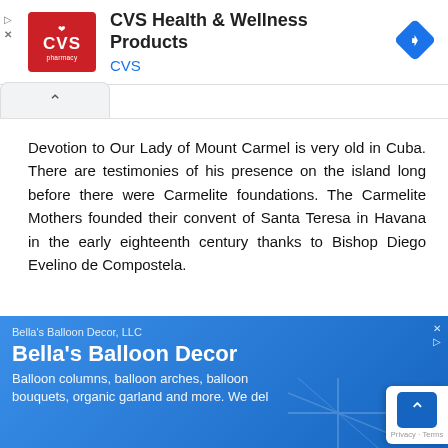[Figure (screenshot): CVS Health & Wellness Products advertisement banner with CVS pharmacy logo and navigation icon]
Devotion to Our Lady of Mount Carmel is very old in Cuba. There are testimonies of his presence on the island long before there were Carmelite foundations. The Carmelite Mothers founded their convent of Santa Teresa in Havana in the early eighteenth century thanks to Bishop Diego Evelino de Compostela.
[Figure (screenshot): Bella's Balloon Decor, LLC advertisement on blue background. Text: Bella's Balloon Decor. Balloon columns, balloon arches, balloon bouquets, organic garland and more. We del...]